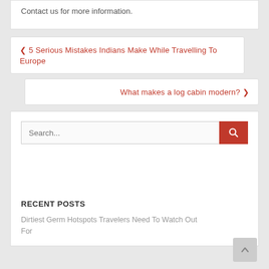Contact us for more information.
❮ 5 Serious Mistakes Indians Make While Travelling To Europe
What makes a log cabin modern? ❯
Search...
RECENT POSTS
Dirtiest Germ Hotspots Travelers Need To Watch Out For